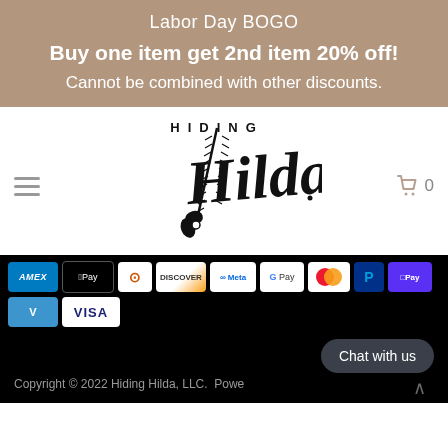Labor Day BOGO
Buy one item get 2nd item 20% off!
Cannot be combined with other discounts.
[Figure (logo): Hiding Hilda brand logo with stylized script text and zipper illustration]
[Figure (infographic): Payment method badges: AMEX, Apple Pay, Diners Club, Discover, Meta Pay, Google Pay, Mastercard, PayPal, Shop Pay, Venmo, Visa]
Copyright © 2022 Hiding Hilda, LLC.  Powe
Chat with us